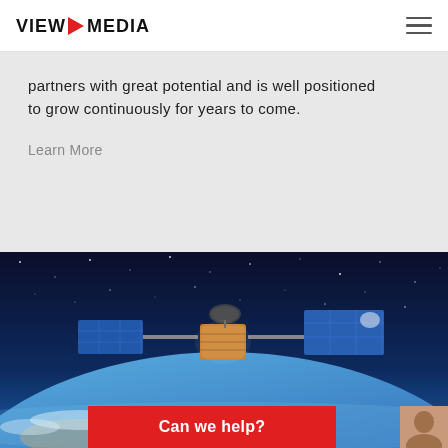VIEW MEDIA
partners with great potential and is well positioned to grow continuously for years to come.
Learn More
[Figure (photo): A satellite in orbit above Earth with blue solar panels extended, set against a starry space background with the Earth's surface visible below.]
Can we help?